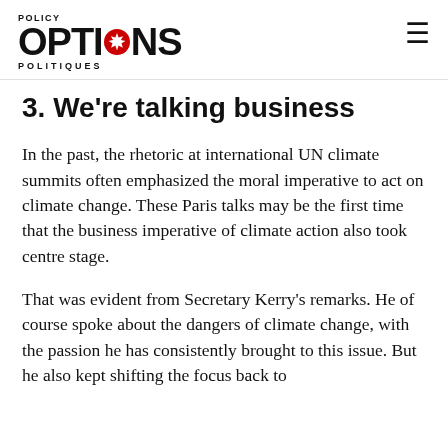POLICY OPTIONS POLITIQUES
3. We're talking business
In the past, the rhetoric at international UN climate summits often emphasized the moral imperative to act on climate change. These Paris talks may be the first time that the business imperative of climate action also took centre stage.
That was evident from Secretary Kerry's remarks. He of course spoke about the dangers of climate change, with the passion he has consistently brought to this issue. But he also kept shifting the focus back to